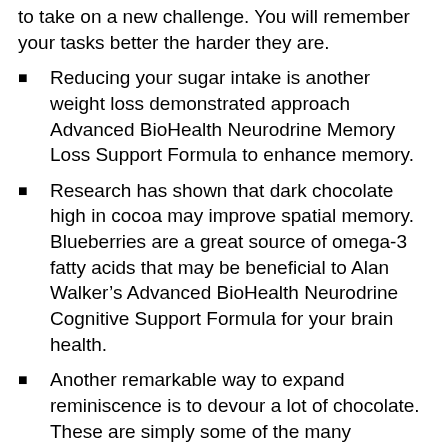to take on a new challenge. You will remember your tasks better the harder they are.
Reducing your sugar intake is another weight loss demonstrated approach Advanced BioHealth Neurodrine Memory Loss Support Formula to enhance memory.
Research has shown that dark chocolate high in cocoa may improve spatial memory. Blueberries are a great source of omega-3 fatty acids that may be beneficial to Alan Walker’s Advanced BioHealth Neurodrine Cognitive Support Formula for your brain health.
Another remarkable way to expand reminiscence is to devour a lot of chocolate. These are simply some of the many approaches you can enhance your memory.
There are many different methods to enhance memory. There are many methods to enhance your memory. Mindfulness can assist enhance your long-term reminiscence and momentary memory.